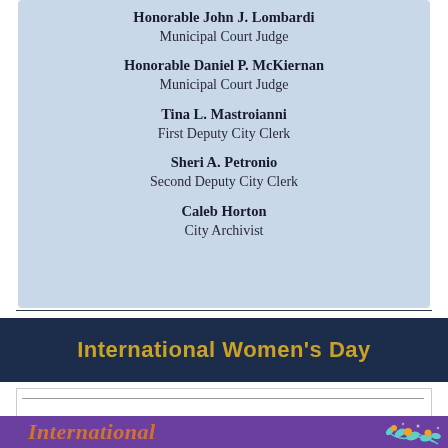Honorable John J. Lombardi
Municipal Court Judge
Honorable Daniel P. McKiernan
Municipal Court Judge
Tina L. Mastroianni
First Deputy City Clerk
Sheri A. Petronio
Second Deputy City Clerk
Caleb Horton
City Archivist
International Women's Day
[Figure (illustration): International Women's Day decorative banner with purple background and floral botanical illustration with teal leaves and orange flowers on right side. Text 'International' visible in orange italic font.]